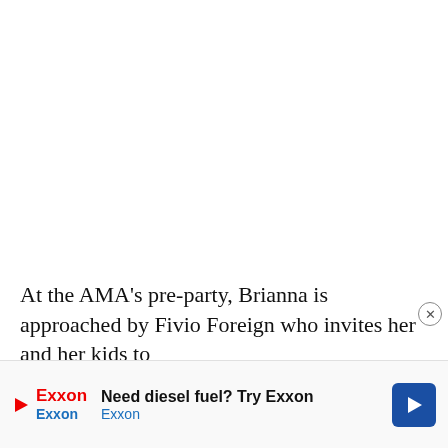At the AMA's pre-party, Brianna is approached by Fivio Foreign who invites her and her kids to accompany him on his private jet to Paris just so he can get to know her. Brianna, initially scoffs at his advances, but he
[Figure (other): Advertisement banner: Exxon diesel fuel ad with Exxon logo, text 'Need diesel fuel? Try Exxon' and blue navigation arrow icon]